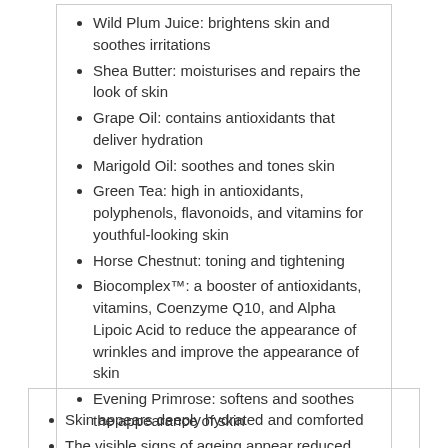Wild Plum Juice: brightens skin and soothes irritations
Shea Butter: moisturises and repairs the look of skin
Grape Oil: contains antioxidants that deliver hydration
Marigold Oil: soothes and tones skin
Green Tea: high in antioxidants, polyphenols, flavonoids, and vitamins for youthful-looking skin
Horse Chestnut: toning and tightening
Biocomplex™: a booster of antioxidants, vitamins, Coenzyme Q10, and Alpha Lipoic Acid to reduce the appearance of wrinkles and improve the appearance of skin
Evening Primrose: softens and soothes the appearance of skin
Skin appears deeply hydrated and comforted
The visible signs of ageing appear reduced
Skin texture appears firm and supple